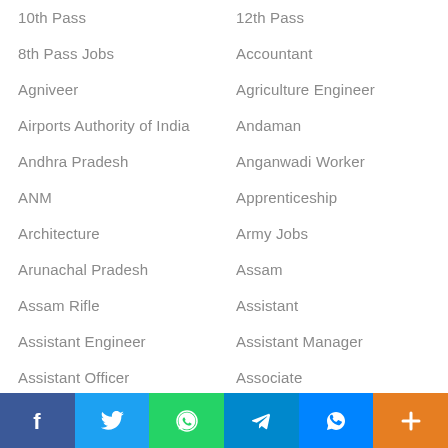10th Pass
12th Pass
8th Pass Jobs
Accountant
Agniveer
Agriculture Engineer
Airports Authority of India
Andaman
Andhra Pradesh
Anganwadi Worker
ANM
Apprenticeship
Architecture
Army Jobs
Arunachal Pradesh
Assam
Assam Rifle
Assistant
Assistant Engineer
Assistant Manager
Assistant Officer
Associate
Attendant
Auditor
Automobile Engineering
B.A